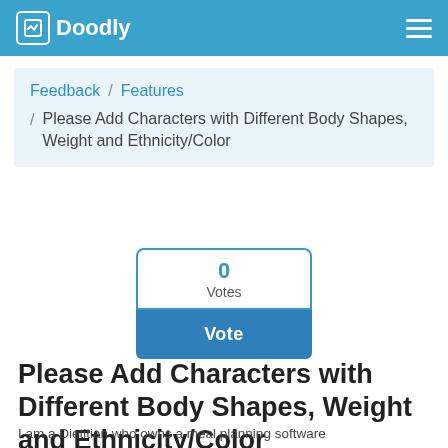Doodly
Feedback / Features
Please Add Characters with Different Body Shapes, Weight and Ethnicity/Color
0
Votes
Vote
Please Add Characters with Different Body Shapes, Weight and Ethnicity/Color
I am a Dietitian who owns a meal planning software